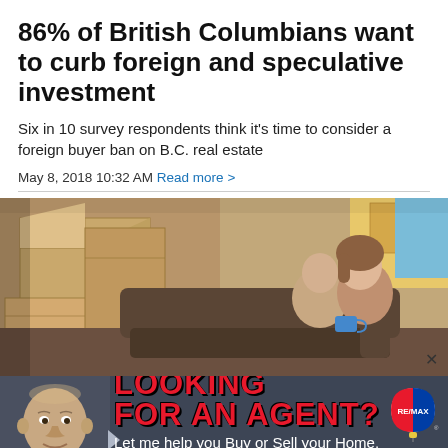86% of British Columbians want to curb foreign and speculative investment
Six in 10 survey respondents think it's time to consider a foreign buyer ban on B.C. real estate
May 8, 2018 10:32 AM Read more >
[Figure (photo): A couple sitting on a couch among moving boxes, smiling and holding a blue mug]
[Figure (advertisement): RE/MAX advertisement featuring Bob Michor, Realtor. Text: LOOKING FOR AN AGENT? Let me help you Buy or Sell your Home. BOB MICHOR | REALTOR® RE/MAX City Realty 604 740 4735. Over 30 Years Selling on the Sunshine Coast. GET MORE DETAILS]